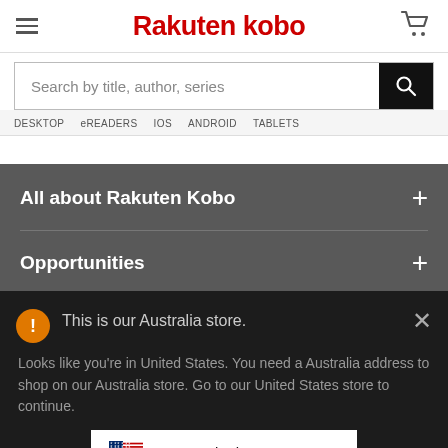Rakuten kobo
Search by title, author, series
DESKTOP  eREADERS  IOS  ANDROID  TABLETS
All about Rakuten Kobo
Opportunities
This is our Australia store.
Looks like you're in United States. You need a Australia address to shop on our Australia store. Go to our United States store to continue.
Go to United States Store
Choose another store